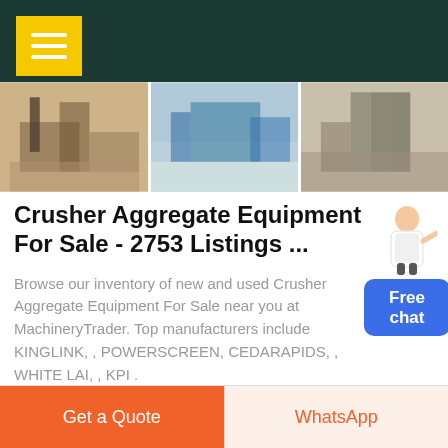[Figure (screenshot): Dark green header bar with yellow hamburger menu button (three white lines)]
[Figure (photo): Strip of three photos showing industrial crusher/aggregate equipment machinery at outdoor sites]
Crusher Aggregate Equipment For Sale - 2753 Listings ...
Browse our inventory of new and used Crusher Aggregate Equipment For Sale near you at MachineryTrader. Top manufacturers include KINGLINK, , POWERSCREEN, CEDARAPIDS, , WHITE LAI, , KPI .
[Figure (illustration): Chat widget with female figure illustration and blue 'Free chat' button]
GET PRICE
Get a Quote
WhatsApp